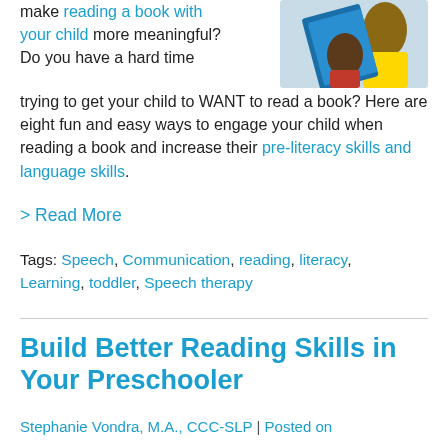make reading a book with your child more meaningful? Do you have a hard time trying to get your child to WANT to read a book? Here are eight fun and easy ways to engage your child when reading a book and increase their pre-literacy skills and language skills.
[Figure (photo): Photo of an adult and child reading a book together, with blue book cover visible]
> Read More
Tags: Speech, Communication, reading, literacy, Learning, toddler, Speech therapy
Build Better Reading Skills in Your Preschooler
Stephanie Vondra, M.A., CCC-SLP | Posted on